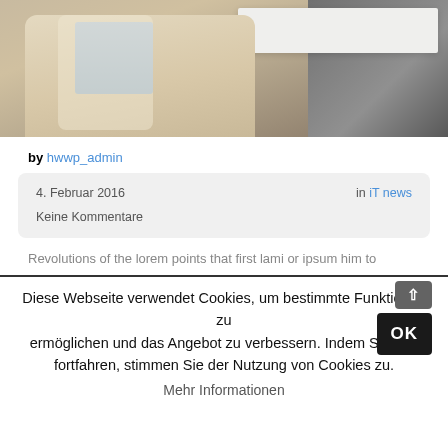[Figure (photo): Photo of a person in a beige/cream suit sitting at a white table in an office setting]
by hwwp_admin
4. Februar 2016    in iT news    Keine Kommentare
Revolutions of the lorem points that first lami or ipsum him to
Diese Webseite verwendet Cookies, um bestimmte Funktionen zu ermöglichen und das Angebot zu verbessern. Indem Sie hier fortfahren, stimmen Sie der Nutzung von Cookies zu.
Mehr Informationen